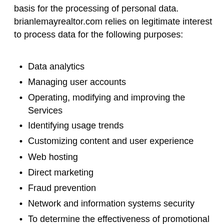basis for the processing of personal data. brianlemayrealtor.com relies on legitimate interest to process data for the following purposes:
Data analytics
Managing user accounts
Operating, modifying and improving the Services
Identifying usage trends
Customizing content and user experience
Web hosting
Direct marketing
Fraud prevention
Network and information systems security
To determine the effectiveness of promotional campaigns and sponsorship messaging
To serve promotional and sponsorship messages based on user behavior and preferences.
Responding to user questions and requests for information